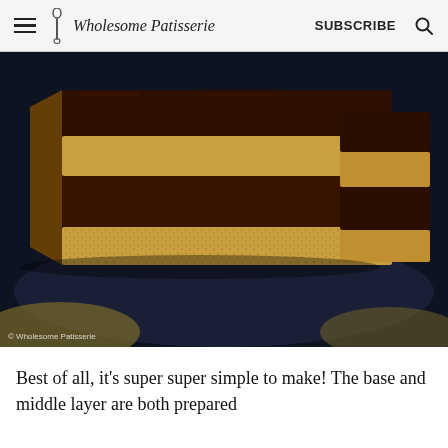Wholesome Patisserie  SUBSCRIBE
[Figure (photo): Close-up photo of layered chocolate and oat/biscuit bars stacked on a dark plate. The bars show alternating dark chocolate ganache layers and golden oat/biscuit base layers. Background is dark navy/black. Copyright: © Wholesome Patisserie]
Best of all, it's super super simple to make! The base and middle layer are both prepared